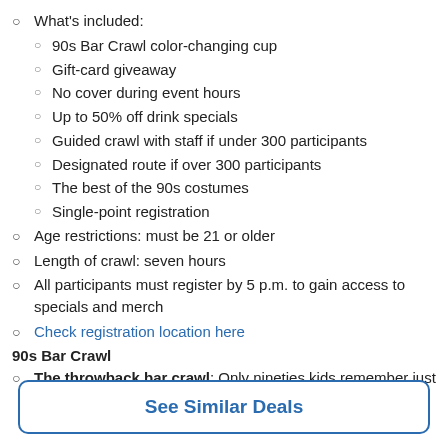What's included:
90s Bar Crawl color-changing cup
Gift-card giveaway
No cover during event hours
Up to 50% off drink specials
Guided crawl with staff if under 300 participants
Designated route if over 300 participants
The best of the 90s costumes
Single-point registration
Age restrictions: must be 21 or older
Length of crawl: seven hours
All participants must register by 5 p.m. to gain access to specials and merch
Check registration location here
90s Bar Crawl
The throwback bar crawl: Only nineties kids remember just how bangin' the decade was—but everyone can bring the 90's
See Similar Deals